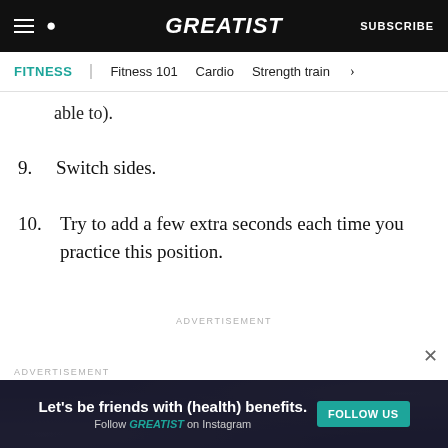GREATIST | SUBSCRIBE | FITNESS | Fitness 101 | Cardio | Strength train
able to).
9. Switch sides.
10. Try to add a few extra seconds each time you practice this position.
ADVERTISEMENT
ADVERTISEMENT
Let's be friends with (health) benefits. Follow GREATIST on Instagram FOLLOW US